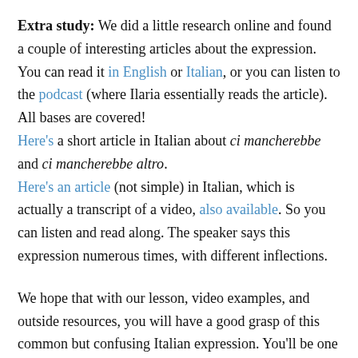Extra study: We did a little research online and found a couple of interesting articles about the expression. You can read it in English or Italian, or you can listen to the podcast (where Ilaria essentially reads the article). All bases are covered! Here's a short article in Italian about ci mancherebbe and ci mancherebbe altro. Here's an article (not simple) in Italian, which is actually a transcript of a video, also available. So you can listen and read along. The speaker says this expression numerous times, with different inflections.
We hope that with our lesson, video examples, and outside resources, you will have a good grasp of this common but confusing Italian expression. You'll be one step closer to becoming fluent. And that's what Yabla is all about...